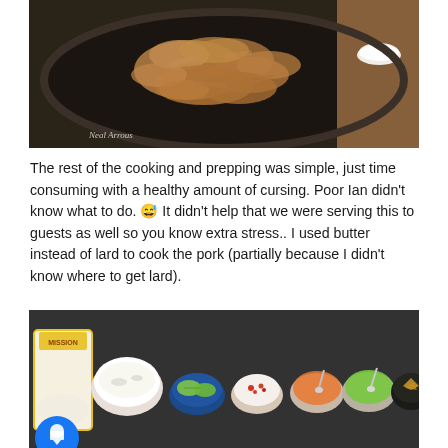[Figure (photo): Overhead view of shredded cooked pork in a dark skillet/pan, with a wooden cutting board and small white bowl visible in the upper right corner. Watermark text 'Neal Arrous' visible at bottom left of image.]
The rest of the cooking and prepping was simple, just time consuming with a healthy amount of cursing. Poor Ian didn't know what to do. 😅 It didn't help that we were serving this to guests as well so you know extra stress.. I used butter instead of lard to cook the pork (partially because I didn't know where to get lard).
[Figure (photo): A spread of taco toppings arranged on a dark countertop: a stack of flour tortillas in packaging, a white bowl with sour cream/onions, a small blue bowl with lime wedges, a small bowl with pico de gallo, a bowl with salsa and spoon, a bowl with green salsa and spoon, and a dark bowl with tortilla chips. A blue circular notification icon is partially visible at the bottom left.]